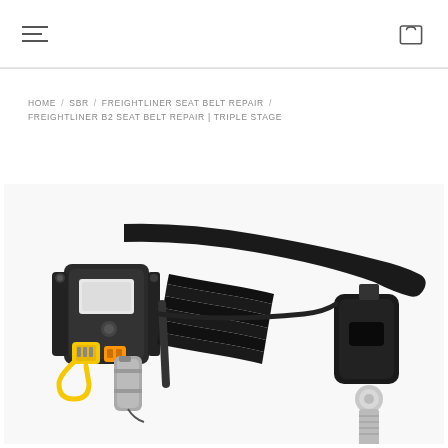Navigation header with hamburger menu and cart icon
HOME / SBR / FREIGHTLINER SEAT BELT REPAIR / FREIGHTLINER B2 SEAT BELT REPAIR | TRIPLE STAGE
[Figure (photo): Freightliner B2 seat belt retractor assembly with black webbing strap, yellow electrical connectors, and a separate buckle component with hardware, displayed on a white background]